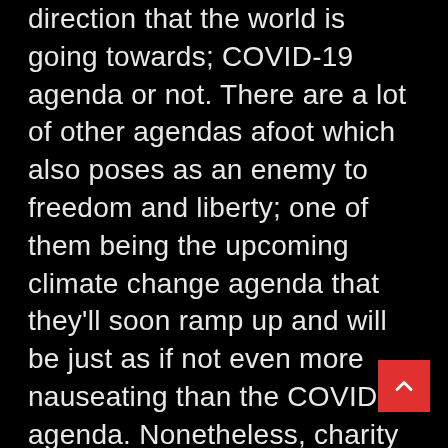direction that the world is going towards; COVID-19 agenda or not. There are a lot of other agendas afoot which also poses as an enemy to freedom and liberty; one of them being the upcoming climate change agenda that they'll soon ramp up and will be just as if not even more nauseating than the COVID agenda. Nonetheless, charity is simply a cover used by these billionaire families and celebrities and other Luciferians on the world stage to build their public image, a network for themselves to conceal their true criminality of trafficking and abuse along with their Ponzi schemes where none of the money goes to the actual causes it pretends to want to help. Charity is simply shaping the narrative for the people when it comes to the Luciferians. It is not genuine or sincere and at worst it is a means of facilitating a criminal operation that involves human trafficking, drug trafficking and sexual